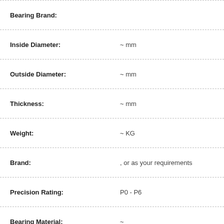| Property | Value |
| --- | --- |
| Bearing Brand: |  |
| Inside Diameter: | ~ mm |
| Outside Diameter: | ~ mm |
| Thickness: | ~ mm |
| Weight: | ~ KG |
| Brand: | , or as your requirements |
| Precision Rating: | P0 - P6 |
| Bearing Material: | ~ |
| Seals Type: | ~ |
How can you buy skf-n1022ktn9-hc5s-bearing on the Internet? High quality skf-n1022ktn9-hc5s-bearing, Just click the button "Contact Now" to mention your purchase Requirement, Quantity